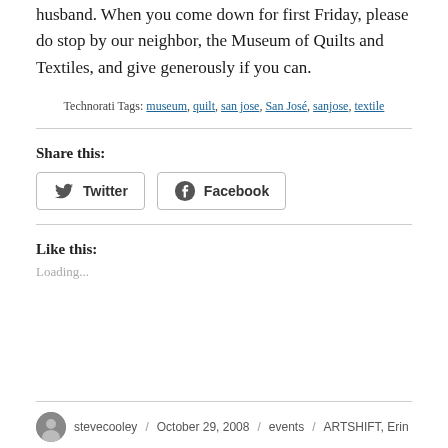husband. When you come down for first Friday, please do stop by our neighbor, the Museum of Quilts and Textiles, and give generously if you can.
Technorati Tags: museum, quilt, san jose, San José, sanjose, textile
Share this:
Twitter  Facebook
Like this:
Loading...
stevecooley / October 29, 2008 / events / ARTSHIFT, Erin